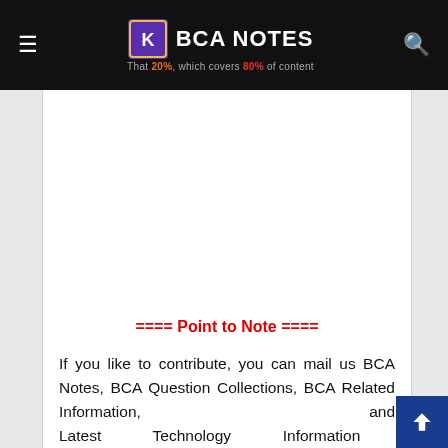BCA NOTES — That 20%, which covers 80% of content
[Figure (other): Advertisement placeholder area (blank white space)]
==== Point to Note ====
If you like to contribute, you can mail us BCA Notes, BCA Question Collections, BCA Related Information, and Latest Technology Information at